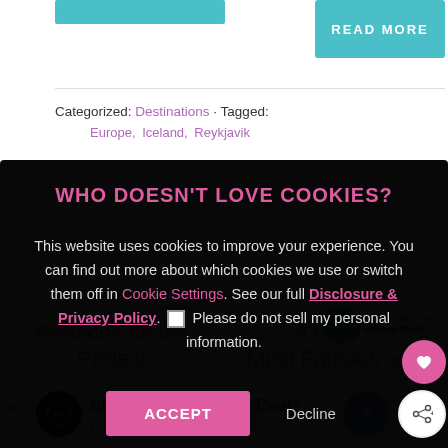[Figure (screenshot): Teal 'READ MORE' button in top right area of page]
Categorized: Destinations · Tagged:
Europe, Iceland, Reykjavik
[Figure (screenshot): Cookie consent modal overlay with title 'WHO DOESN'T LOVE COOKIES?', body text about cookie usage with links to Cookie Settings and Disclosure & Privacy Policy, checkbox for 'Please do not sell my personal information', ACCEPT and Decline buttons]
Reasons Its the Perfect Month to Visit
A Day at Most Famous Spa
[Figure (infographic): Advertisement bar: Shop Back To School Deals - Leesburg Premium Outlets]
[Figure (infographic): WHAT'S NEXT arrow widget showing Privacy Tools with tropical image]